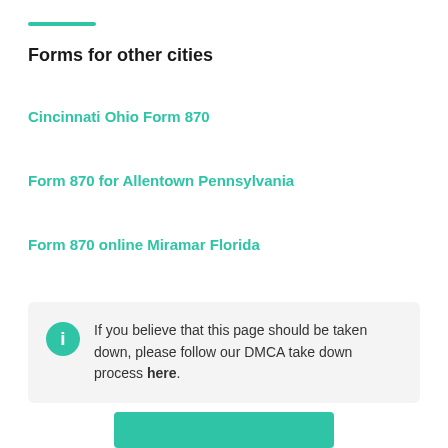Forms for other cities
Cincinnati Ohio Form 870
Form 870 for Allentown Pennsylvania
Form 870 online Miramar Florida
If you believe that this page should be taken down, please follow our DMCA take down process here.